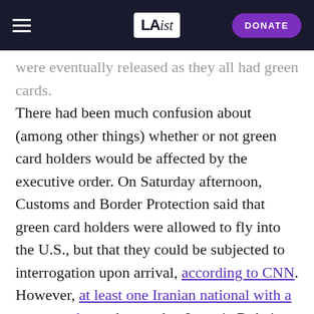LAist — DONATE
were eventually released as they all had green cards. There had been much confusion about (among other things) whether or not green card holders would be affected by the executive order. On Saturday afternoon, Customs and Border Protection said that green card holders were allowed to fly into the U.S., but that they could be subjected to interrogation upon arrival, according to CNN. However, at least one Iranian national with a green card was deported to Iran via Dubai before a federal judge ordered the man returned to the U.S.
On Saturday night, a federal judge issued an